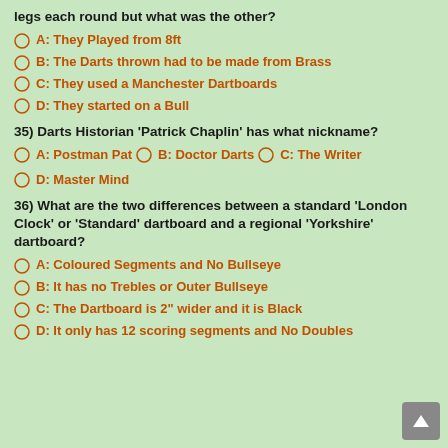legs each round but what was the other?
A: They Played from 8ft
B: The Darts thrown had to be made from Brass
C: They used a Manchester Dartboards
D: They started on a Bull
35) Darts Historian 'Patrick Chaplin' has what nickname?
A: Postman Pat   B: Doctor Darts   C: The Writer
D: Master Mind
36) What are the two differences between a standard 'London Clock' or 'Standard' dartboard and a regional 'Yorkshire' dartboard?
A: Coloured Segments and No Bullseye
B: It has no Trebles or Outer Bullseye
C: The Dartboard is 2" wider and it is Black
D: It only has 12 scoring segments and No Doubles